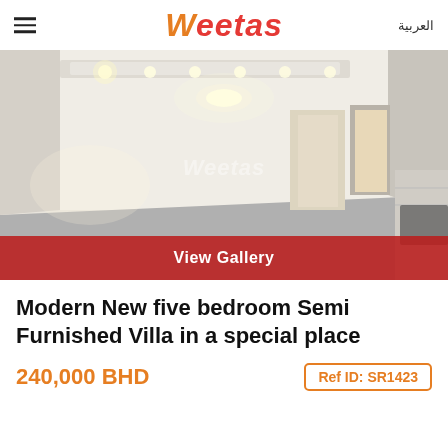Weetas | العربية
[Figure (photo): Interior photo of a large empty villa room with white walls, recessed ceiling lights, and grey flooring. Weetas watermark visible in center.]
View Gallery
Modern New five bedroom Semi Furnished Villa in a special place
240,000 BHD
Ref ID: SR1423